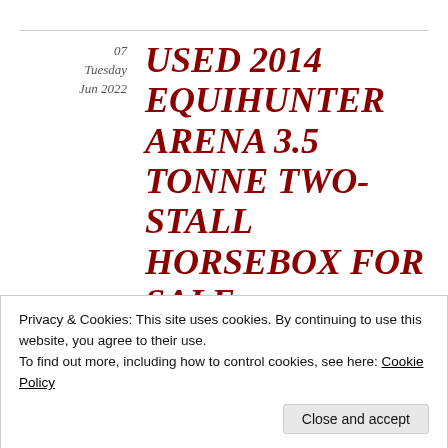07 Tuesday Jun 2022
USED 2014 EQUIHUNTER ARENA 3.5 TONNE TWO-STALL HORSEBOX FOR SALE
Posted by Equihunter Horseboxes in 2 horse horsebox, 2 stall horsebox, 3.5
≈ Leave a comment
Privacy & Cookies: This site uses cookies. By continuing to use this website, you agree to their use.
To find out more, including how to control cookies, see here: Cookie Policy
Close and accept